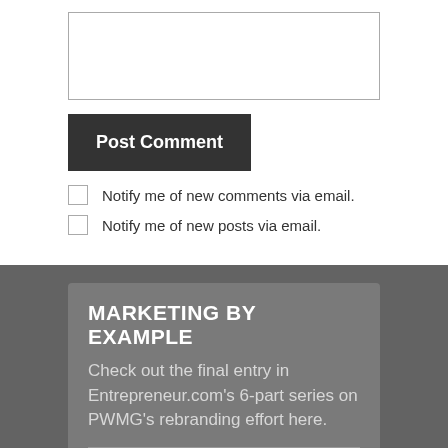[Figure (screenshot): Text input area (textarea) with a thin border]
Post Comment
Notify me of new comments via email.
Notify me of new posts via email.
MARKETING BY EXAMPLE
Check out the final entry in Entrepreneur.com's 6-part series on PWMG's rebranding effort here.
SEEN US AT ENTREPRENEUR.COM?
If you followed us through Entrepreneur.com's